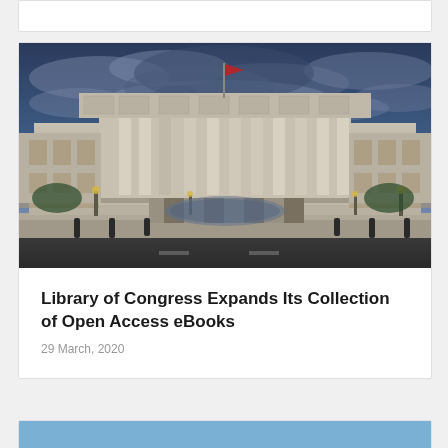[Figure (photo): Photograph of the Library of Congress building exterior at dusk/evening, neoclassical architecture with large columns, steps, and dramatic cloudy blue sky]
Library of Congress Expands Its Collection of Open Access eBooks
29 March, 2020
[Figure (photo): Partial view of another image at the bottom of the page (cut off)]